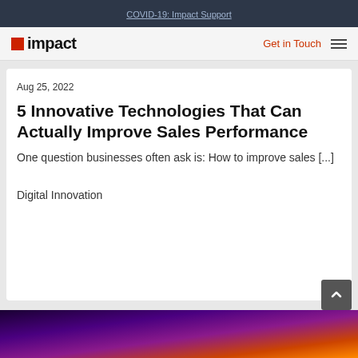COVID-19: Impact Support
impact | Get in Touch
Aug 25, 2022
5 Innovative Technologies That Can Actually Improve Sales Performance
One question businesses often ask is: How to improve sales [...]
Digital Innovation